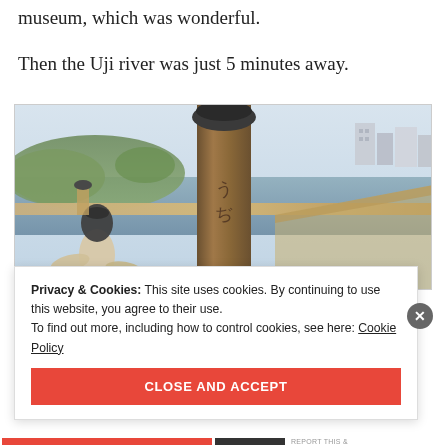museum, which was wonderful.
Then the Uji river was just 5 minutes away.
[Figure (photo): Photo taken from a wooden bridge over the Uji river in Japan, showing a close-up of a wooden bridge post with Japanese characters, a black decorative cap on a nearby post, figurines or statues on the bridge railing, the river and hills in the background, and buildings on the right side.]
Privacy & Cookies: This site uses cookies. By continuing to use this website, you agree to their use.
To find out more, including how to control cookies, see here: Cookie Policy
CLOSE AND ACCEPT